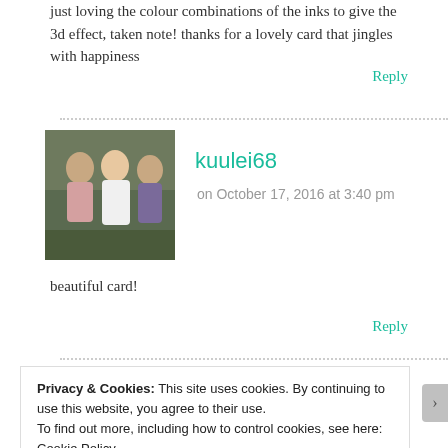just loving the colour combinations of the inks to give the 3d effect, taken note! thanks for a lovely card that jingles with happiness
Reply
[Figure (photo): Avatar photo of commenter kuulei68, showing a group of people outdoors]
kuulei68
on October 17, 2016 at 3:40 pm
beautiful card!
Reply
Privacy & Cookies: This site uses cookies. By continuing to use this website, you agree to their use.
To find out more, including how to control cookies, see here: Cookie Policy
Close and accept